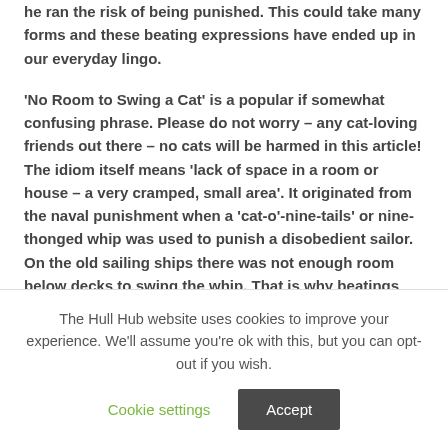he ran the risk of being punished. This could take many forms and these beating expressions have ended up in our everyday lingo.
'No Room to Swing a Cat' is a popular if somewhat confusing phrase. Please do not worry – any cat-loving friends out there – no cats will be harmed in this article! The idiom itself means 'lack of space in a room or house – a very cramped, small area'. It originated from the naval punishment when a 'cat-o'-nine-tails' or nine-thonged whip was used to punish a disobedient sailor. On the old sailing ships there was not enough room below decks to swing the whip. That is why beatings were administered on deck. From a commander's point of view, this also
The Hull Hub website uses cookies to improve your experience. We'll assume you're ok with this, but you can opt-out if you wish.  Cookie settings  Accept